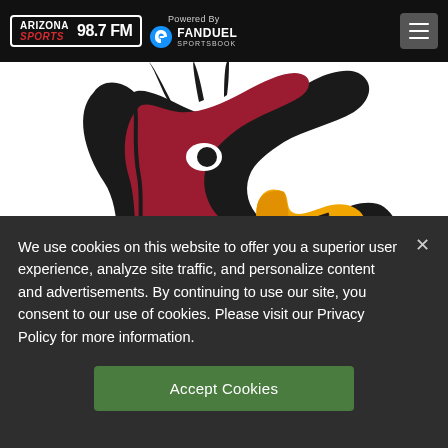Arizona Sports 98.7 FM — Powered By FanDuel Sportsbook
[Figure (logo): Arizona Cardinals NFL team logo — cardinal bird head with red feathers, yellow beak, black outline, on white background]
We use cookies on this website to offer you a superior user experience, analyze site traffic, and personalize content and advertisements. By continuing to use our site, you consent to our use of cookies. Please visit our Privacy Policy for more information.
Accept Cookies